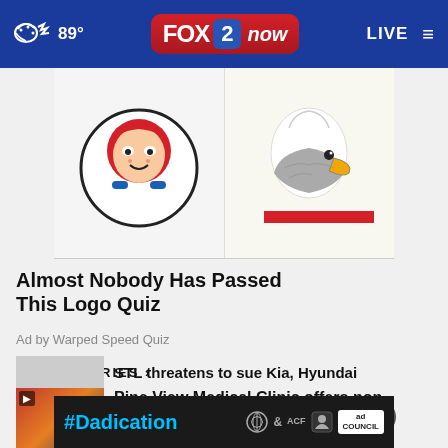89° FOX 2 now LIVE
[Figure (photo): Split image showing Wendy's mascot logo on the left and a bald eagle mascot on the right]
Almost Nobody Has Passed This Logo Quiz
Ad by Warped Speed Quiz
MORE STORIES ›
Pine View Medical Clinic offers non-invasive solutions …
See weight loss of woman aft…
STL threatens to sue Kia, Hyundai
[Figure (screenshot): #Dadication ad banner with HHS, ACF and Ad Council logos]